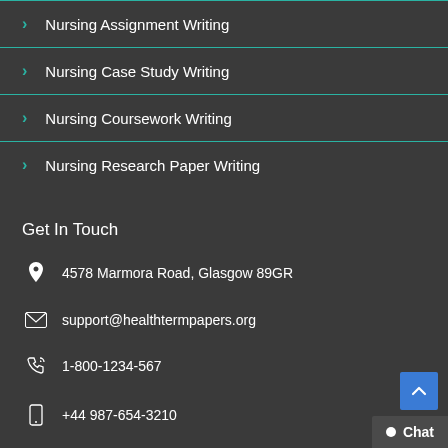Nursing Assignment Writing
Nursing Case Study Writing
Nursing Coursework Writing
Nursing Research Paper Writing
Get In Touch
4578 Marmora Road, Glasgow 89GR
support@healthtermpapers.org
1-800-1234-567
+44 987-654-3210